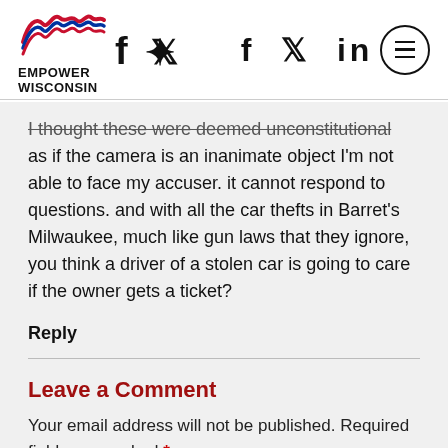[Figure (logo): Empower Wisconsin logo with red and blue wave graphic and bold text EMPOWER WISCONSIN]
[Figure (infographic): Social media icons: f (Facebook), bird (Twitter), in (LinkedIn)]
[Figure (infographic): Hamburger menu button inside a circle]
I thought these were deemed unconstitutional as if the camera is an inanimate object I'm not able to face my accuser. it cannot respond to questions. and with all the car thefts in Barret's Milwaukee, much like gun laws that they ignore, you think a driver of a stolen car is going to care if the owner gets a ticket?
Reply
Leave a Comment
Your email address will not be published. Required fields are marked *